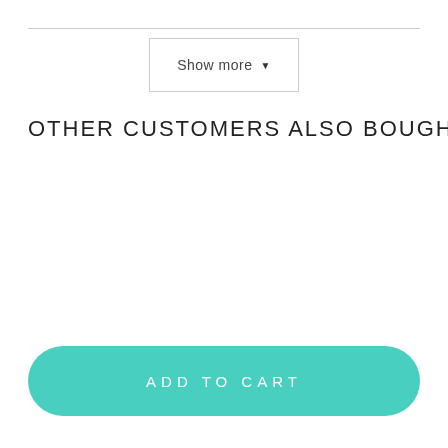Show more ▼
OTHER CUSTOMERS ALSO BOUGHT:
ADD TO CART